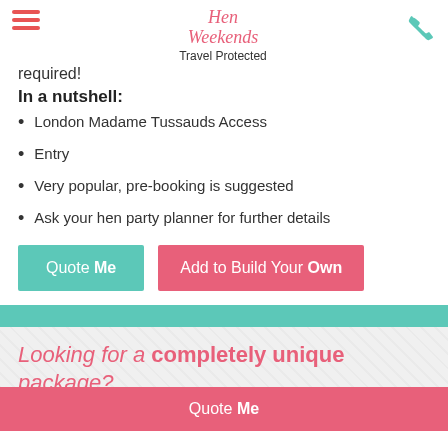Hen Weekends — Travel Protected
required!
In a nutshell:
London Madame Tussauds Access
Entry
Very popular, pre-booking is suggested
Ask your hen party planner for further details
Quote Me | Add to Build Your Own
Looking for a completely unique package?
Quote Me